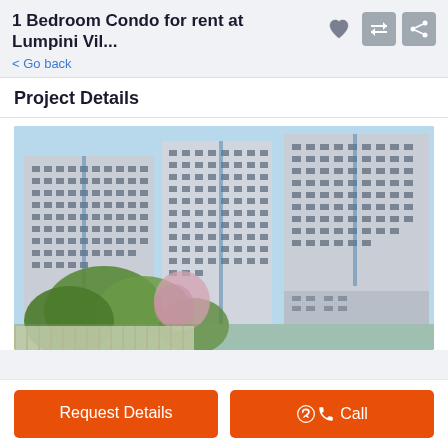1 Bedroom Condo for rent at Lumpini Vil...
< Go back
Project Details
[Figure (photo): Exterior photo of large multi-story condominium buildings (Lumpini Village), white/grey facades with many windows, set against a clear blue sky, with green trees and a decorative white fence in the foreground.]
Request Details
Call